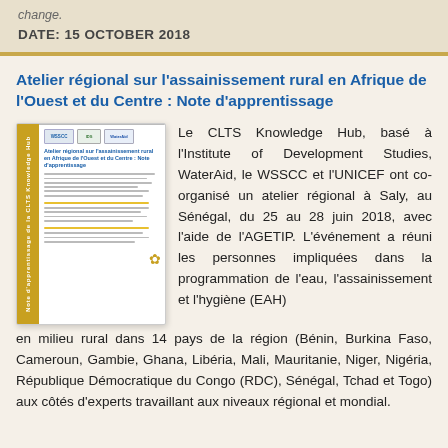change.
DATE: 15 OCTOBER 2018
Atelier régional sur l'assainissement rural en Afrique de l'Ouest et du Centre : Note d'apprentissage
[Figure (illustration): Thumbnail of a document titled 'Atelier régional sur l'assainissement rural en Afrique de l'Ouest et du Centre : Note d'apprentissage', with a gold/yellow spine and logos at the top.]
Le CLTS Knowledge Hub, basé à l'Institute of Development Studies, WaterAid, le WSSCC et l'UNICEF ont co-organisé un atelier régional à Saly, au Sénégal, du 25 au 28 juin 2018, avec l'aide de l'AGETIP. L'événement a réuni les personnes impliquées dans la programmation de l'eau, l'assainissement et l'hygiène (EAH) en milieu rural dans 14 pays de la région (Bénin, Burkina Faso, Cameroun, Gambie, Ghana, Libéria, Mali, Mauritanie, Niger, Nigéria, République Démocratique du Congo (RDC), Sénégal, Tchad et Togo) aux côtés d'experts travaillant aux niveaux régional et mondial.